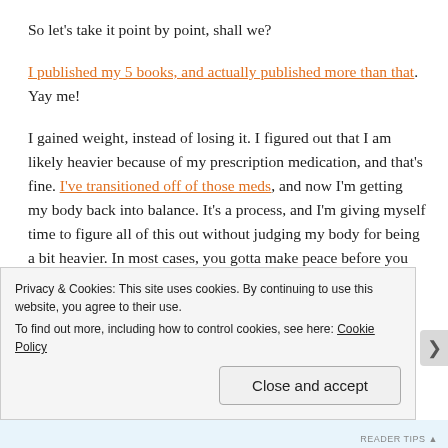So let's take it point by point, shall we?
I published my 5 books, and actually published more than that. Yay me!
I gained weight, instead of losing it. I figured out that I am likely heavier because of my prescription medication, and that's fine. I've transitioned off of those meds, and now I'm getting my body back into balance. It's a process, and I'm giving myself time to figure all of this out without judging my body for being a bit heavier. In most cases, you gotta make peace before you can make progress, so that's what I'm doing.
Privacy & Cookies: This site uses cookies. By continuing to use this website, you agree to their use.
To find out more, including how to control cookies, see here: Cookie Policy
Close and accept